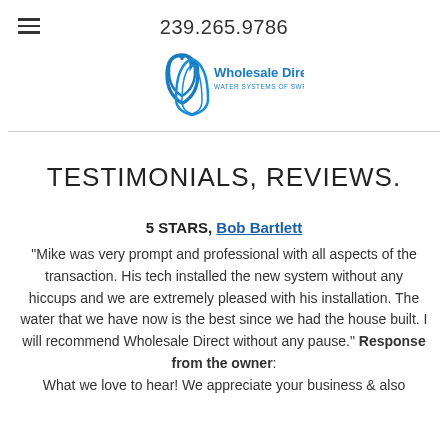239.265.9786
[Figure (logo): Wholesale Direct Water Systems of SWFL logo with blue water drop icon]
TESTIMONIALS, REVIEWS.
5 STARS, Bob Bartlett
"Mike was very prompt and professional with all aspects of the transaction. His tech installed the new system without any hiccups and we are extremely pleased with his installation. The water that we have now is the best since we had the house built.  I will recommend Wholesale Direct without any pause." Response from the owner: What we love to hear! We appreciate your business & also...